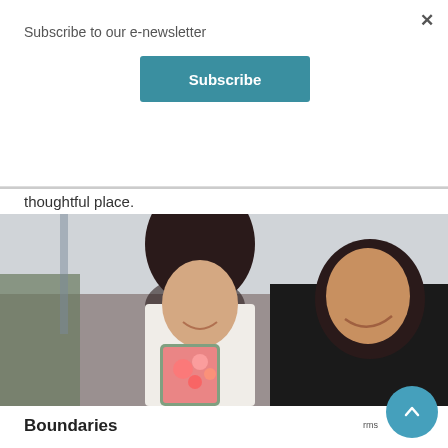Subscribe to our e-newsletter
Subscribe
thoughtful place.
[Figure (photo): Two young people smiling and looking at a smartphone together. A young woman with dark hair leans over the shoulder of a young man in a black jacket who is holding a phone with a floral case.]
Boundaries